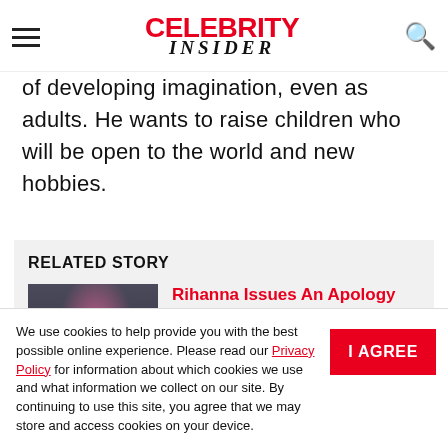Celebrity Insider
of developing imagination, even as adults. He wants to raise children who will be open to the world and new hobbies.
RELATED STORY
[Figure (photo): Photo of Rihanna at an event, wearing a pink outfit, dark background]
Rihanna Issues An Apology Following The Backlash She Received After The Super V...
We use cookies to help provide you with the best possible online experience. Please read our Privacy Policy for information about which cookies we use and what information we collect on our site. By continuing to use this site, you agree that we may store and access cookies on your device.